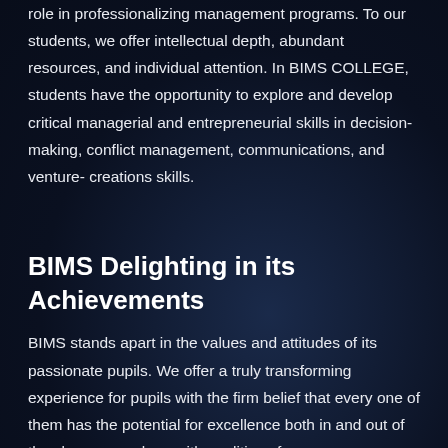role in professionalizing management programs. To our students, we offer intellectual depth, abundant resources, and individual attention. In BIMS COLLEGE, students have the opportunity to explore and develop critical managerial and entrepreneurial skills in decision-making, conflict management, communications, and venture- creations skills.
BIMS Delighting in its Achievements
BIMS stands apart in the values and attitudes of its passionate pupils. We offer a truly transforming experience for pupils with the firm belief that every one of them has the potential for excellence both in and out of the class room along with qualities of perseverance, humanity, compassion tolerance, integrity and generosity of spirit, all of which